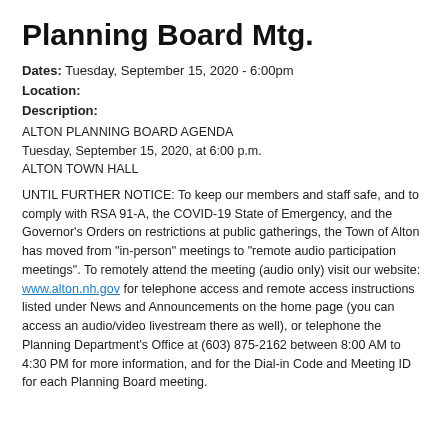Planning Board Mtg.
Dates: Tuesday, September 15, 2020 - 6:00pm
Location:
Description:
ALTON PLANNING BOARD AGENDA
Tuesday, September 15, 2020, at 6:00 p.m.
ALTON TOWN HALL
UNTIL FURTHER NOTICE: To keep our members and staff safe, and to comply with RSA 91-A, the COVID-19 State of Emergency, and the Governor's Orders on restrictions at public gatherings, the Town of Alton has moved from "in-person" meetings to "remote audio participation meetings". To remotely attend the meeting (audio only) visit our website: www.alton.nh.gov for telephone access and remote access instructions listed under News and Announcements on the home page (you can access an audio/video livestream there as well), or telephone the Planning Department's Office at (603) 875-2162 between 8:00 AM to 4:30 PM for more information, and for the Dial-in Code and Meeting ID for each Planning Board meeting.